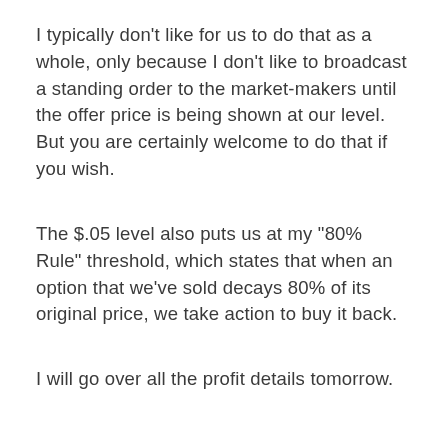I typically don't like for us to do that as a whole, only because I don't like to broadcast a standing order to the market-makers until the offer price is being shown at our level.  But you are certainly welcome to do that if you wish.
The $.05 level also puts us at my "80% Rule" threshold, which states that when an option that we've sold decays 80% of its original price, we take action to buy it back.
I will go over all the profit details tomorrow.